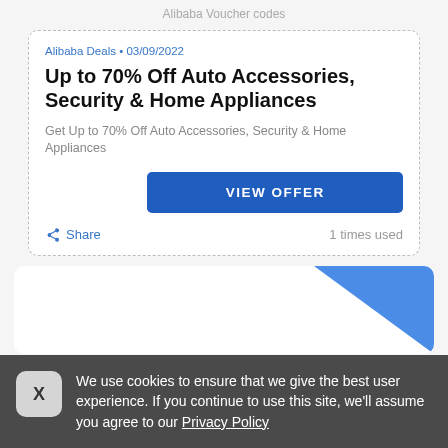Alibaba Voucher codes
Alibaba Deals • 03/09/2022
Up to 70% Off Auto Accessories, Security & Home Appliances
Get Up to 70% Off Auto Accessories, Security & Home Appliances
VIEW OFFER
Share
1 times used
[Figure (other): Partial view of a second voucher card with a blue diagonal 'Offer' ribbon in the top-right corner]
We use cookies to ensure that we give the best user experience. If you continue to use this site, we'll assume you agree to our Privacy Policy